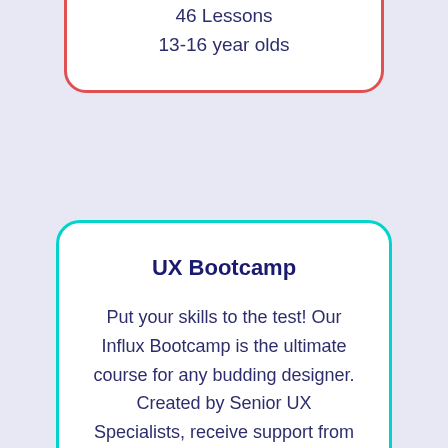46 Lessons
13-16 year olds
UX Bootcamp
Put your skills to the test! Our Influx Bootcamp is the ultimate course for any budding designer. Created by Senior UX Specialists, receive support from UX mentors and work on real-life